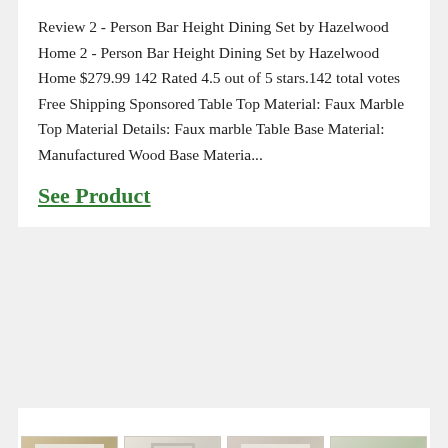Review 2 - Person Bar Height Dining Set by Hazelwood Home 2 - Person Bar Height Dining Set by Hazelwood Home $279.99 142 Rated 4.5 out of 5 stars.142 total votes Free Shipping Sponsored Table Top Material: Faux Marble Top Material Details: Faux marble Table Base Material: Manufactured Wood Base Materia...
See Product
[Figure (photo): Four product images shown in a row at the bottom of the page, partially visible. Images appear to show home decor items including framed artwork and a plant.]